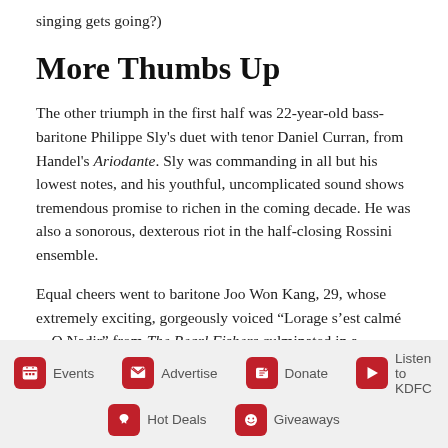it through uninspired orchestral interludes before the singing gets going?)
More Thumbs Up
The other triumph in the first half was 22-year-old bass-baritone Philippe Sly's duet with tenor Daniel Curran, from Handel's Ariodante. Sly was commanding in all but his lowest notes, and his youthful, uncomplicated sound shows tremendous promise to richen in the coming decade. He was also a sonorous, dexterous riot in the half-closing Rossini ensemble.
Equal cheers went to baritone Joo Won Kang, 29, whose extremely exciting, gorgeously voiced “Lorage s’est calmé ... O Nadir” from The Pearl Fishers culminated in a fabulous
Events   Advertise   Donate   Listen to KDFC   Hot Deals   Giveaways